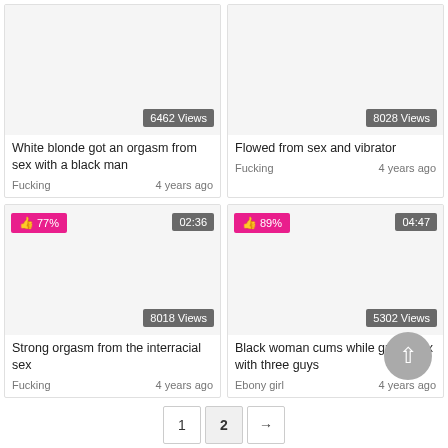[Figure (screenshot): Video thumbnail placeholder, white background, showing 6462 Views badge]
White blonde got an orgasm from sex with a black man
Fucking    4 years ago
[Figure (screenshot): Video thumbnail placeholder, white background, showing 8028 Views badge]
Flowed from sex and vibrator
Fucking    4 years ago
[Figure (screenshot): Video thumbnail placeholder with 77% like badge and 02:36 duration, showing 8018 Views badge]
Strong orgasm from the interracial sex
Fucking    4 years ago
[Figure (screenshot): Video thumbnail placeholder with 89% like badge and 04:47 duration, showing 5302 Views badge]
Black woman cums while group sex with three guys
Ebony girl    4 years ago